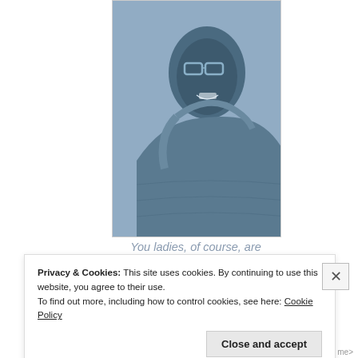[Figure (photo): A man wearing glasses and a blue puffer jacket, photographed in a close-up side/front angle, with a blue-toned color treatment.]
You ladies, of course, are always welcome.
Privacy & Cookies: This site uses cookies. By continuing to use this website, you agree to their use.
To find out more, including how to control cookies, see here: Cookie Policy
Close and accept